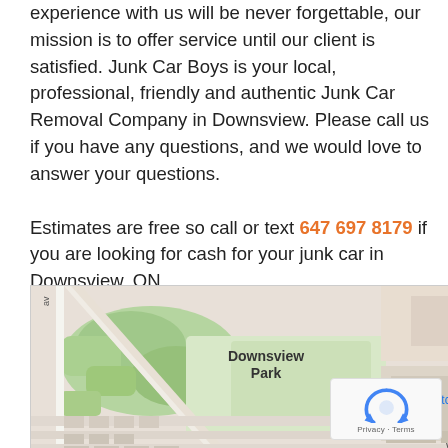experience with us will be never forgettable, our mission is to offer service until our client is satisfied. Junk Car Boys is your local, professional, friendly and authentic Junk Car Removal Company in Downsview. Please call us if you have any questions, and we would love to answer your questions.

Estimates are free so call or text 647 697 8179 if you are looking for cash for your junk car in Downsview, ON.
[Figure (map): Google Map showing Downsview Park area with Costco W and Wilson street labels visible]